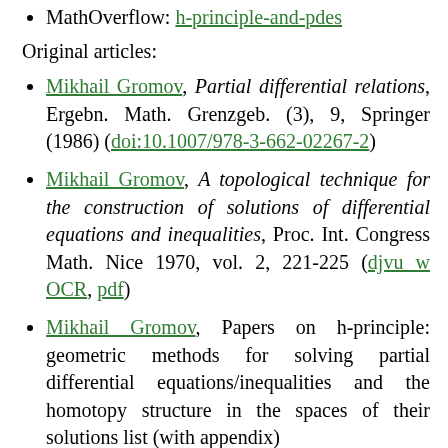MathOverflow: h-principle-and-pdes
Original articles:
Mikhail Gromov, Partial differential relations, Ergebn. Math. Grenzgeb. (3), 9, Springer (1986) (doi:10.1007/978-3-662-02267-2)
Mikhail Gromov, A topological technique for the construction of solutions of differential equations and inequalities, Proc. Int. Congress Math. Nice 1970, vol. 2, 221-225 (djvu w OCR, pdf)
Mikhail Gromov, Papers on h-principle: geometric methods for solving partial differential equations/inequalities and the homotopy structure in the spaces of their solutions list (with appendix)